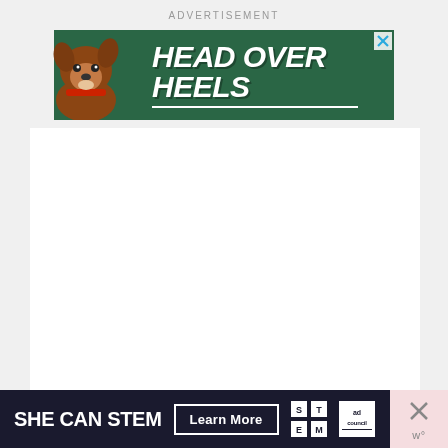ADVERTISEMENT
[Figure (illustration): Banner advertisement with dark green background featuring a cartoon dog illustration and bold italic white text 'HEAD OVER HEELS' with underline, and an X close button]
[Figure (illustration): Bottom banner advertisement with dark navy background. Left side shows 'SHE CAN STEM' in large white bold text, a 'Learn More' button with white border, STEM logo grid, and Ad Council logo. Right side shows a pink/salmon colored section with an X close button and weather widget icon.]